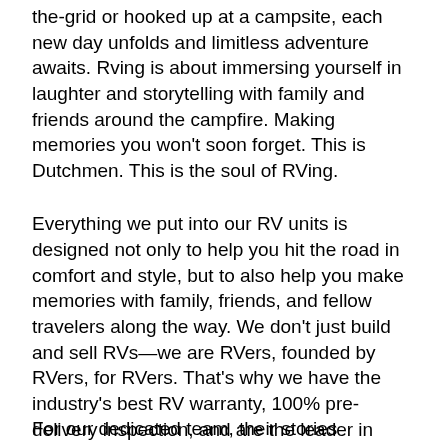the-grid or hooked up at a campsite, each new day unfolds and limitless adventure awaits. Rving is about immersing yourself in laughter and storytelling with family and friends around the campfire. Making memories you won't soon forget. This is Dutchmen. This is the soul of RVing.
Everything we put into our RV units is designed not only to help you hit the road in comfort and style, but to also help you make memories with family, friends, and fellow travelers along the way. We don't just build and sell RVs—we are RVers, founded by RVers, for RVers. That's why we have the industry's best RV warranty, 100% pre-delivery inspection, and are the leader in parts and service.
For our dedicated team, their stories...